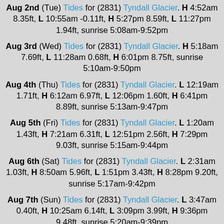Aug 2nd (Tue) Tides for (2831) Tyndall Glacier. H 4:52am 8.35ft, L 10:55am -0.11ft, H 5:27pm 8.59ft, L 11:27pm 1.94ft, sunrise 5:08am-9:52pm
Aug 3rd (Wed) Tides for (2831) Tyndall Glacier. H 5:18am 7.69ft, L 11:28am 0.68ft, H 6:01pm 8.75ft, sunrise 5:10am-9:50pm
Aug 4th (Thu) Tides for (2831) Tyndall Glacier. L 12:19am 1.71ft, H 6:12am 6.97ft, L 12:06pm 1.60ft, H 6:41pm 8.89ft, sunrise 5:13am-9:47pm
Aug 5th (Fri) Tides for (2831) Tyndall Glacier. L 1:20am 1.43ft, H 7:21am 6.31ft, L 12:51pm 2.56ft, H 7:29pm 9.03ft, sunrise 5:15am-9:44pm
Aug 6th (Sat) Tides for (2831) Tyndall Glacier. L 2:31am 1.03ft, H 8:50am 5.96ft, L 1:51pm 3.43ft, H 8:28pm 9.20ft, sunrise 5:17am-9:42pm
Aug 7th (Sun) Tides for (2831) Tyndall Glacier. L 3:47am 0.40ft, H 10:25am 6.14ft, L 3:09pm 3.99ft, H 9:36pm 9.48ft, sunrise 5:20am-9:39pm
Aug 8th (Mon) Tides for (2831) Tyndall Glacier. L 4:58am 0.42ft, H 11:43am 6.73ft, L 4:32pm 4.04ft, H 10:45pm